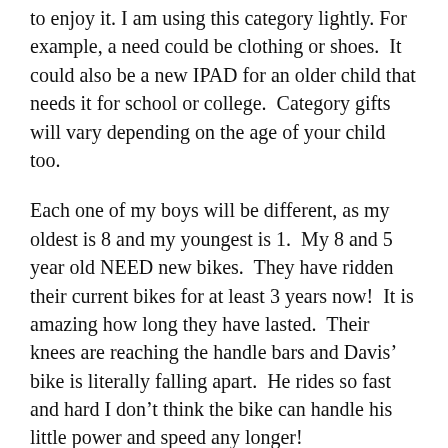to enjoy it. I am using this category lightly. For example, a need could be clothing or shoes. It could also be a new IPAD for an older child that needs it for school or college. Category gifts will vary depending on the age of your child too.
Each one of my boys will be different, as my oldest is 8 and my youngest is 1. My 8 and 5 year old NEED new bikes. They have ridden their current bikes for at least 3 years now! It is amazing how long they have lasted. Their knees are reaching the handle bars and Davis' bike is literally falling apart. He rides so fast and hard I don't think the bike can handle his little power and speed any longer!
So with that being said, they both NEED new bikes for their rides to school and our family rides to the park on the weekend. This gives them the opportunity to get outside and play together which equals a successful gift